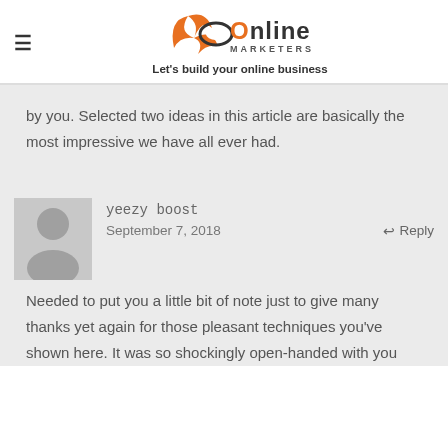JK Online Marketers — Let's build your online business
by you. Selected two ideas in this article are basically the most impressive we have all ever had.
yeezy boost
September 7, 2018
Needed to put you a little bit of note just to give many thanks yet again for those pleasant techniques you've shown here. It was so shockingly open-handed with you